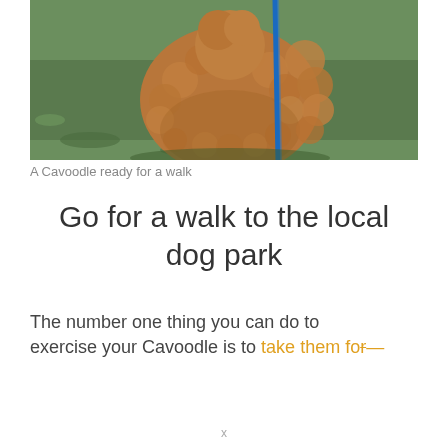[Figure (photo): A curly-haired golden/brown Cavoodle dog on a blue leash, photographed outdoors on grass, cropped to show the body and head area.]
A Cavoodle ready for a walk
Go for a walk to the local dog park
The number one thing you can do to exercise your Cavoodle is to take them for